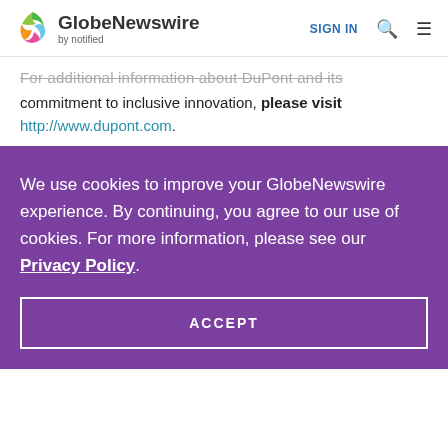GlobeNewswire by notified | SIGN IN
For additional information about DuPont and its commitment to inclusive innovation, please visit http://www.dupont.com.
We use cookies to improve your GlobeNewswire experience. By continuing, you agree to our use of cookies. For more information, please see our Privacy Policy.
ACCEPT